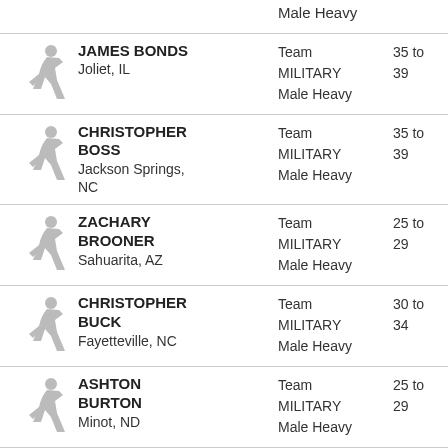| Photo | Name/Location | Team | Age Group |
| --- | --- | --- | --- |
| [runner icon] | Male Heavy |  |  |
| [runner icon] | JAMES BONDS
Joliet, IL | Team MILITARY
Male Heavy | 35 to 39 |
| [runner icon] | CHRISTOPHER BOSS
Jackson Springs, NC | Team MILITARY
Male Heavy | 35 to 39 |
| [runner icon] | ZACHARY BROONER
Sahuarita, AZ | Team MILITARY
Male Heavy | 25 to 29 |
| [runner icon] | CHRISTOPHER BUCK
Fayetteville, NC | Team MILITARY
Male Heavy | 30 to 34 |
| [runner icon] | ASHTON BURTON
Minot, ND | Team MILITARY
Male Heavy | 25 to 29 |
| [runner icon] | DUSTIN CAIN | Team | 40 to |